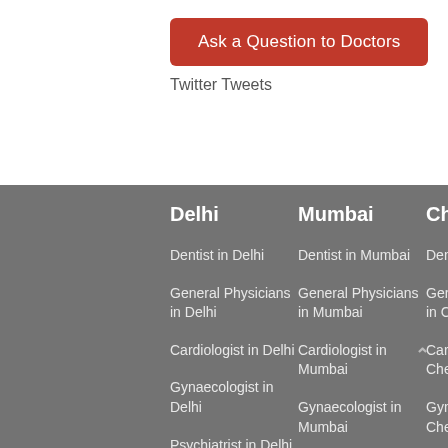Ask a Question to Doctors
Twitter Tweets
Delhi
Mumbai
Chennai
Banga
Dentist in Delhi
Dentist in Mumbai
Dentist in Chennai
Dentist in Banga
General Physicians in Delhi
General Physicians in Mumbai
General Physicians in Chennai
General Physicians in Banga
Cardiologist in Delhi
Cardiologist in Mumbai
Cardiologist in Chennai
Cardiologist in Banga
Gynaecologist in Delhi
Gynaecologist in Mumbai
Gynaecologist in Chennai
Gynaecologist in Ban
Psychiatrist in Delhi
Psychiatrist in Mumbai
Psychiatrist in Chennai
Psychiatrist in Banga
Dermatologist in Delhi
Dermatologist in Mumbai
Dermatologist in Chennai
Derma